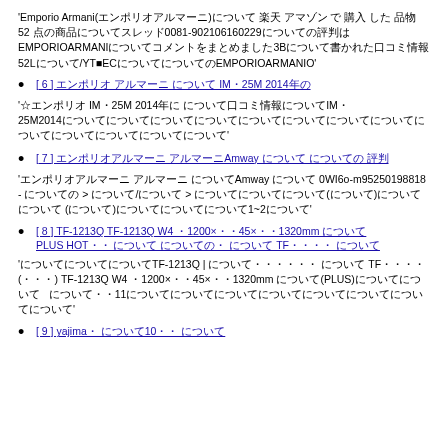'Emporio Armani(エンポリオアルマーニ)について 楽天 アマゾン で 購入 した 品物 52 点の商品についてスレッド0081-902106160229についての評判はEMPORIOARMANIについてコメントをまとめました3Bについて書かれた口コミ情報52Lについて/YT■ECについてについてのEMPORIOARMANIO'
[ 6 ] エンポリオ アルマーニ について IM・25M 2014年の
'☆エンポリオ IM・25M 2014年に について口コミ情報についてIM・25M2014についてについてについてについてについてについてについてについてについてについてについてについてについて'
[ 7 ] エンポリオアルマーニ アルマーニAmway について についての 評判
'エンポリオアルマーニ アルマーニ についてAmway について 0WI6o-m95250198818 - についての > について/について > についてについてについて(について)についてについて (について)についてについてについて1~2について'
[ 8 ] TF-1213Q TF-1213Q W4 ・1200×・・45×・・1320mm について PLUS HOT・・ について についての・ について TF・・・・ について
'についてについてについてTF-1213Q | について・・・・・・ について TF・・・・ (・・・) TF-1213Q W4 ・1200×・・45×・・1320mm について(PLUS)についてについて    について・・11についてについてについてについてについてについてについてについて'
[ 9 ] yajima・ について10・・ について